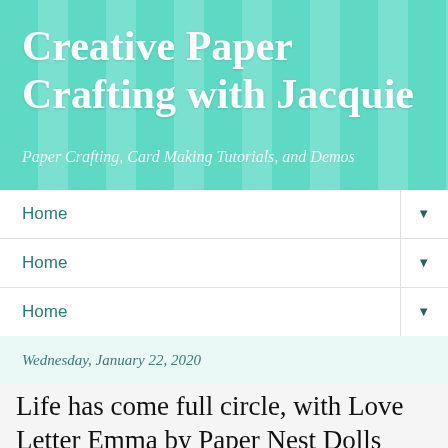Creative Paper Crafting with Jacquie
Paper Crafting, Card Making Tutorials, and Demos
Home
Home
Home
Wednesday, January 22, 2020
Life has come full circle, with Love Letter Emma by Paper Nest Dolls
[Figure (photo): Partially visible white image/card below the article title]